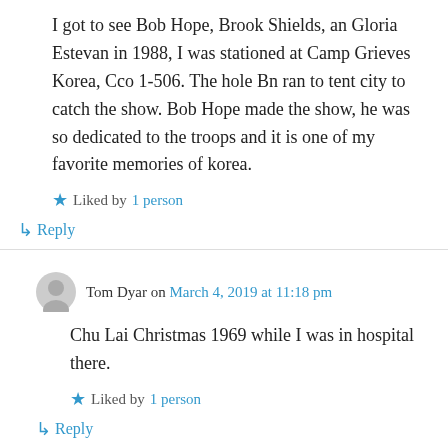I got to see Bob Hope, Brook Shields, an Gloria Estevan in 1988, I was stationed at Camp Grieves Korea, Cco 1-506. The hole Bn ran to tent city to catch the show. Bob Hope made the show, he was so dedicated to the troops and it is one of my favorite memories of korea.
Liked by 1 person
↪ Reply
Tom Dyar on March 4, 2019 at 11:18 pm
Chu Lai Christmas 1969 while I was in hospital there.
Liked by 1 person
↪ Reply